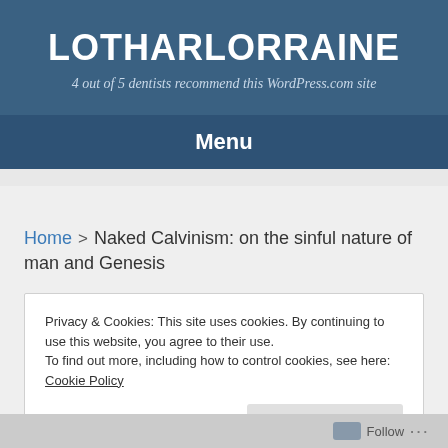LOTHARLORRAINE
4 out of 5 dentists recommend this WordPress.com site
Menu
Home > Naked Calvinism: on the sinful nature of man and Genesis
Privacy & Cookies: This site uses cookies. By continuing to use this website, you agree to their use.
To find out more, including how to control cookies, see here: Cookie Policy
Close and accept
Follow